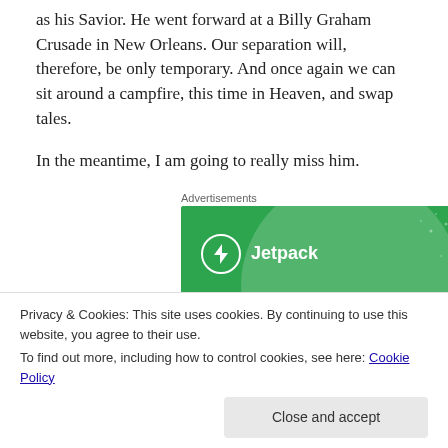as his Savior. He went forward at a Billy Graham Crusade in New Orleans. Our separation will, therefore, be only temporary. And once again we can sit around a campfire, this time in Heaven, and swap tales.
In the meantime, I am going to really miss him.
Advertisements
[Figure (illustration): Jetpack advertisement banner on green background with large circle graphic, lightning bolt logo, and text 'We guard your']
Privacy & Cookies: This site uses cookies. By continuing to use this website, you agree to their use.
To find out more, including how to control cookies, see here: Cookie Policy